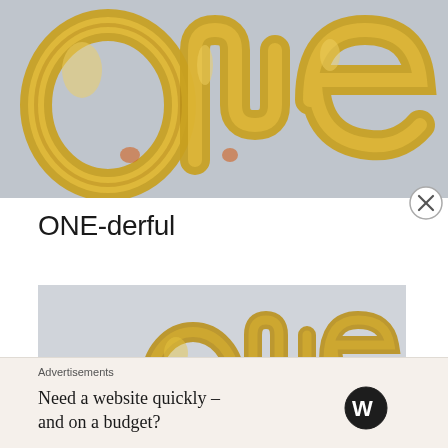[Figure (photo): Gold foil balloon letters spelling 'one' against a light grey background, photographed from above/close-up showing large shiny metallic balloon text]
ONE-derful
[Figure (photo): Second photo showing gold foil balloon letters spelling 'one' at a smaller scale against a light background, partially visible]
Advertisements
Need a website quickly – and on a budget?